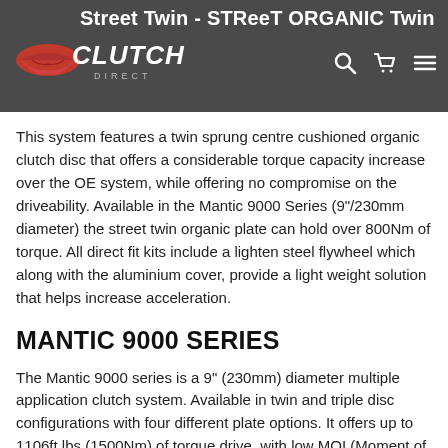Street Twin - STReeT ORGANIC Twin | Clutch Direct
Street Twin - STReeT ORGANIC Twin
This system features a twin sprung centre cushioned organic clutch disc that offers a considerable torque capacity increase over the OE system, while offering no compromise on the driveability. Available in the Mantic 9000 Series (9"/230mm diameter) the street twin organic plate can hold over 800Nm of torque. All direct fit kits include a lighten steel flywheel which along with the aluminium cover, provide a light weight solution that helps increase acceleration.
MANTIC 9000 SERIES
The Mantic 9000 series is a 9" (230mm) diameter multiple application clutch system. Available in twin and triple disc configurations with four different plate options. It offers up to 1106ft lbs (1500Nm) of torque drive, with low MOI (Moment of Inertia) for superior performance.